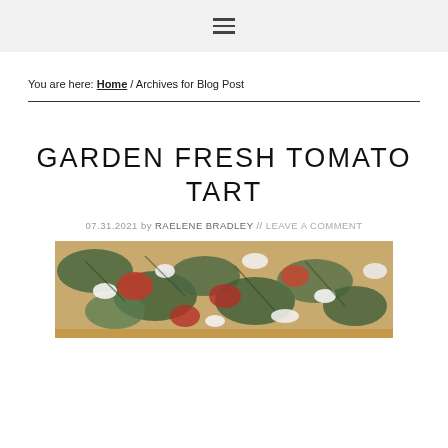≡ (navigation menu icon)
You are here: Home / Archives for Blog Post
GARDEN FRESH TOMATO TART
07.31.2021 by RAELENE BRADLEY // LEAVE A COMMENT
[Figure (photo): Photo of a garden fresh tomato tart with cheese, tomatoes, and fresh herbs in a pastry shell, viewed from above.]